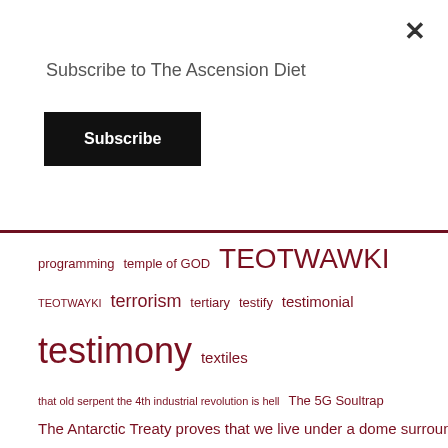Subscribe to The Ascension Diet
Subscribe
programming temple of GOD TEOTWAWKI TEOTWAYKI terrorism tertiary testify testimonial testimony textiles that old serpent the 4th industrial revolution is hell The 5G Soultrap The Antarctic Treaty proves that we live under a dome surrounded by an icewall The Ascension Diet THE ASCENSION DIET Eating To Ascend THE ASCENSION DIET EATING TO ASCEND book theatre the beast the body is the temple of GOD the Catholic Church perverted truth The Covid vaccine is a Trojan Horse the deep The Destroyer the devil The electromagnetic torroidal field of the human heart The Epoch